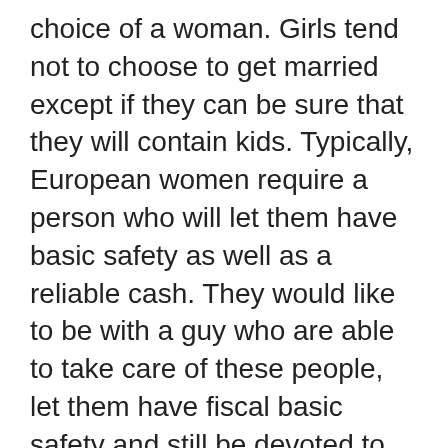choice of a woman. Girls tend not to choose to get married except if they can be sure that they will contain kids. Typically, European women require a person who will let them have basic safety as well as a reliable cash. They would like to be with a guy who are able to take care of these people, let them have fiscal basic safety and still be devoted to her. Reasons why females favor Russian adult men could be the take pleasure in they will talk about for his or her spouse and children. European women of all ages are seeking guys who will make their living better for their regard for his or her home. Additionally , in addition, they want to be around a male that aspects them as a person and the tasks the lady assumes